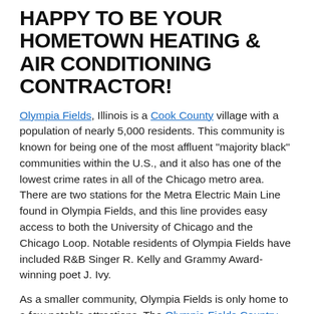HAPPY TO BE YOUR HOMETOWN HEATING & AIR CONDITIONING CONTRACTOR!
Olympia Fields, Illinois is a Cook County village with a population of nearly 5,000 residents. This community is known for being one of the most affluent "majority black" communities within the U.S., and it also has one of the lowest crime rates in all of the Chicago metro area. There are two stations for the Metra Electric Main Line found in Olympia Fields, and this line provides easy access to both the University of Chicago and the Chicago Loop. Notable residents of Olympia Fields have included R&B Singer R. Kelly and Grammy Award-winning poet J. Ivy.
As a smaller community, Olympia Fields is only home to a few notable attractions. The Olympia Fields Country Club is responsible for much of this community's growth, and this prestigious facility is ranked among the top 50 golf courses in the U.S. and within the top ten courses in Illinois. There are several notable shopping destinations found in this community, including Ridge Road Market, the...